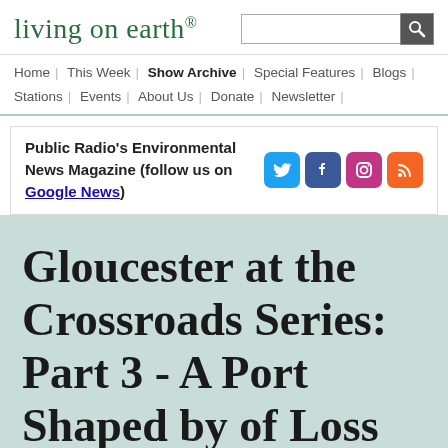living on earth®
Home | This Week | Show Archive | Special Features | Blogs | Stations | Events | About Us | Donate | Newsletter |
Public Radio's Environmental News Magazine (follow us on Google News)
Gloucester at the Crossroads Series: Part 3 - A Port Shaped by of Loss